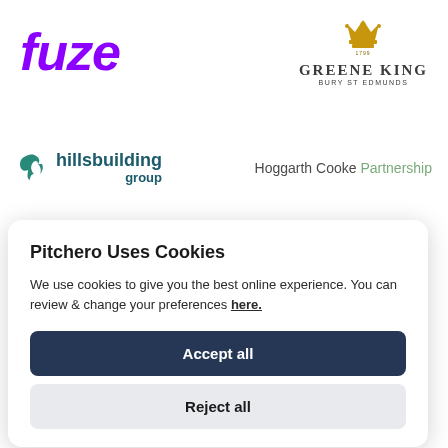[Figure (logo): Fuze logo in purple italic bold text]
[Figure (logo): Greene King logo with crown icon, serif font, Bury St Edmunds tagline]
[Figure (logo): Hills Building Group logo with teal lion icon and teal text]
[Figure (logo): Hoggarth Cooke Partnership logo in dark and green text]
Pitchero Uses Cookies
We use cookies to give you the best online experience. You can review & change your preferences here.
Accept all
Reject all